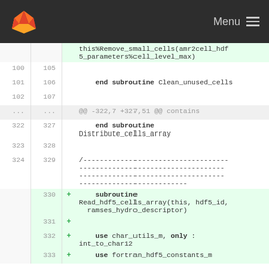GitLab Menu
this%Remove_small_cells(amr2cell_hdf5_parameters%cell_level_max)
100 105
101 106   end subroutine Clean_unused_cells
102 107
... ...   @@ -322,7 +327,51 @@ contains
322 327   end subroutine Distribute_cells_array
323 328
324 329   /--------------------------------------------------...
    330 + subroutine Read_hdf5_cells_array(this, hdf5_id, ramses_hydro_descriptor)
    331 +
    332 + use char_utils_m, only : int_to_char12
    333 + use fortran_hdf5_constants_m